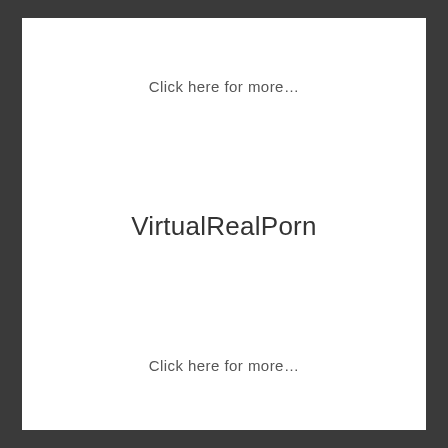Click here for more…
VirtualRealPorn
Click here for more…